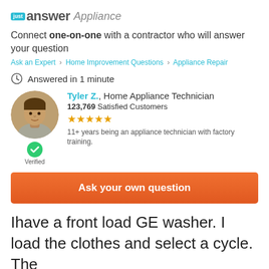[Figure (logo): JustAnswer Appliance logo with teal 'just' badge and bold 'answer' text followed by italic 'Appliance']
Connect one-on-one with a contractor who will answer your question
Ask an Expert > Home Improvement Questions > Appliance Repair
Answered in 1 minute
[Figure (photo): Circular avatar photo of Tyler Z., a male home appliance technician, with a green verified checkmark badge below]
Tyler Z., Home Appliance Technician
123,769 Satisfied Customers
★★★★★
11+ years being an appliance technician with factory training.
Verified
Ask your own question
Ihave a front load GE washer. I load the clothes and select a cycle. The